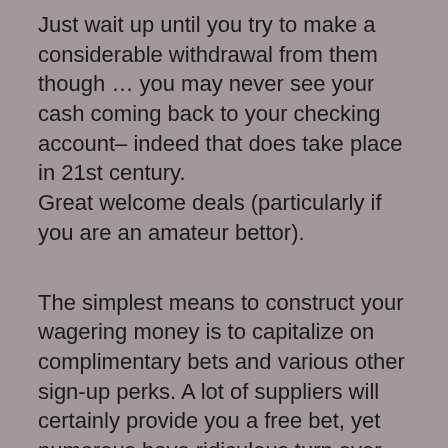Just wait up until you try to make a considerable withdrawal from them though … you may never see your cash coming back to your checking account– indeed that does take place in 21st century. Great welcome deals (particularly if you are an amateur bettor).
The simplest means to construct your wagering money is to capitalize on complimentary bets and various other sign-up perks. A lot of suppliers will certainly provide you a free bet, yet numerous have ridiculous turn over needs which however many punters forget. Nonetheless, some companies have actually become aware that such absurd terms and conditions could place customers off very promptly and also some companies have actually decided to supply uncomplicated and also transparent offers. A prime example of that is Sportingbet. The firm offers a 15